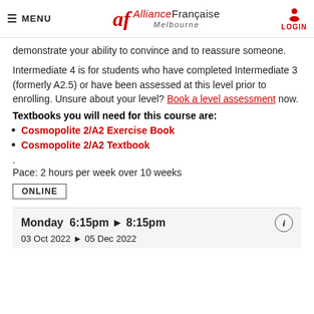MENU | Alliance Française Melbourne | LOGIN
demonstrate your ability to convince and to reassure someone.
Intermediate 4 is for students who have completed Intermediate 3 (formerly A2.5) or have been assessed at this level prior to enrolling. Unsure about your level? Book a level assessment now.
Textbooks you will need for this course are:
Cosmopolite 2/A2 Exercise Book
Cosmopolite 2/A2 Textbook
.
Pace: 2 hours per week over 10 weeks
ONLINE
Monday  6:15pm ▶ 8:15pm
03 Oct 2022 ▶ 05 Dec 2022